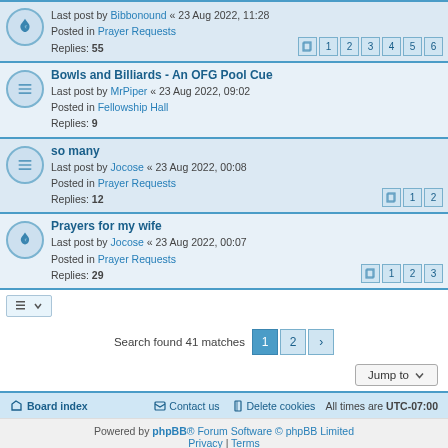Last post by Bibbonound « 23 Aug 2022, 11:28 | Posted in Prayer Requests | Replies: 55 | Pages: 1 2 3 4 5 6
Bowls and Billiards - An OFG Pool Cue | Last post by MrPiper « 23 Aug 2022, 09:02 | Posted in Fellowship Hall | Replies: 9
so many | Last post by Jocose « 23 Aug 2022, 00:08 | Posted in Prayer Requests | Replies: 12 | Pages: 1 2
Prayers for my wife | Last post by Jocose « 23 Aug 2022, 00:07 | Posted in Prayer Requests | Replies: 29 | Pages: 1 2 3
Search found 41 matches
Jump to
Board index | Contact us | Delete cookies | All times are UTC-07:00
Powered by phpBB® Forum Software © phpBB Limited | Privacy | Terms